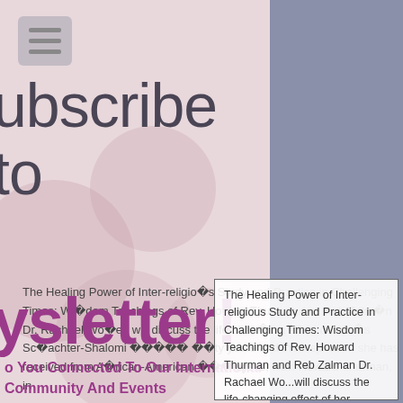[Figure (screenshot): Website screenshot showing a newsletter subscription page with a floral background on the left panel and article content on the right, overlaid with large subscribe/newsletter text]
Subscribe to
ysletter!
The Healing Power of Inter-religious Study and Practice in Challenging Times: Wisdom Teachings of Rev. Howard Thurman and Reb Zalman Dr. Rachael Wo...will discuss the life-changing effect of her ...Schachter-Shalomi ...ty years and the inspiration she has received from African-American ...mystc, Rev. Howard Thurman, in
You Connected To Our International Community And Events